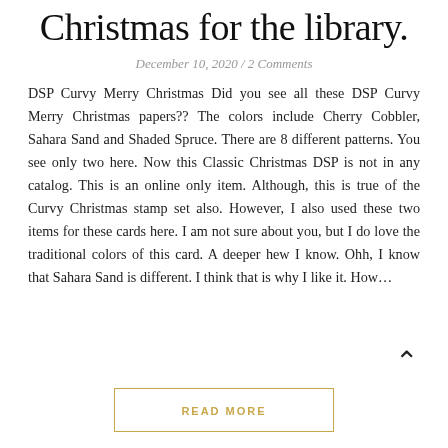Christmas for the library.
December 10, 2020 / 2 Comments
DSP Curvy Merry Christmas Did you see all these DSP Curvy Merry Christmas papers?? The colors include Cherry Cobbler, Sahara Sand and Shaded Spruce. There are 8 different patterns. You see only two here. Now this Classic Christmas DSP is not in any catalog. This is an online only item. Although, this is true of the Curvy Christmas stamp set also. However, I also used these two items for these cards here. I am not sure about you, but I do love the traditional colors of this card. A deeper hew I know. Ohh, I know that Sahara Sand is different. I think that is why I like it. How...
READ MORE